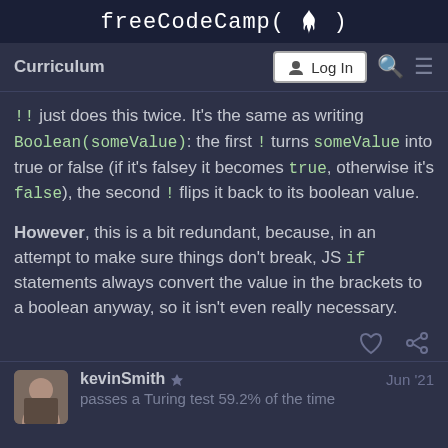freeCodeCamp(🔥)
Curriculum
!! just does this twice. It's the same as writing Boolean(someValue): the first ! turns someValue into true or false (if it's falsey it becomes true, otherwise it's false), the second ! flips it back to its boolean value.
However, this is a bit redundant, because, in an attempt to make sure things don't break, JS if statements always convert the value in the brackets to a boolean anyway, so it isn't even really necessary.
kevinSmith
passes a Turing test 59.2% of the time
Jun '21